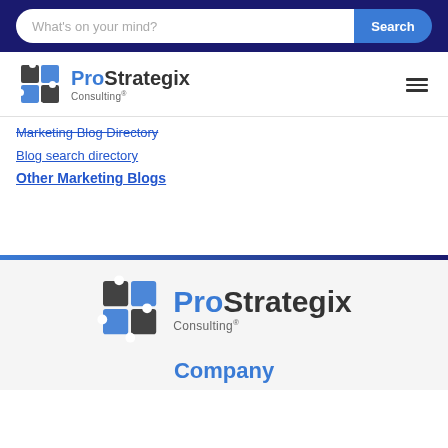What's on your mind? Search
[Figure (logo): ProStrategix Consulting logo with puzzle piece icon in header]
Marketing Blog Directory
Blog search directory
Other Marketing Blogs
[Figure (logo): ProStrategix Consulting logo centered in footer section]
Company